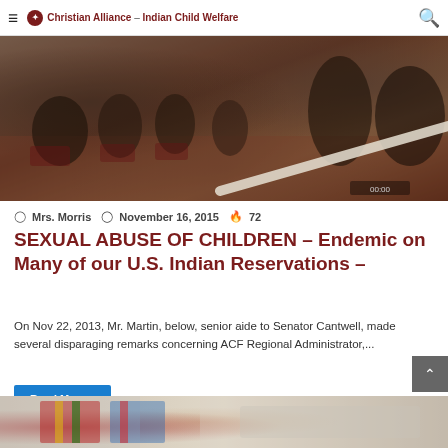Christian Alliance for Indian Child Welfare
[Figure (photo): Photo of people seated in a meeting room or auditorium, viewed from behind, with red/brown carpet and chairs visible]
Mrs. Morris  November 16, 2015  72
SEXUAL ABUSE OF CHILDREN – Endemic on Many of our U.S. Indian Reservations –
On Nov 22, 2013, Mr. Martin, below, senior aide to Senator Cantwell, made several disparaging remarks concerning ACF Regional Administrator,...
Read More »
[Figure (photo): Partial view of flags at the bottom of the page]